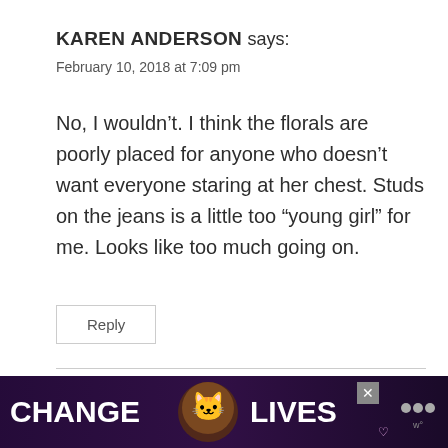KAREN ANDERSON says:
February 10, 2018 at 7:09 pm
No, I wouldn't. I think the florals are poorly placed for anyone who doesn't want everyone staring at her chest. Studs on the jeans is a little too “young girl” for me. Looks like too much going on.
Reply
Pamela Lutrell says:
February 10, 2018 at 10:07 pm
[Figure (screenshot): Advertisement banner: dark background with text CHANGE LIVES and two cat images, close button and logo]